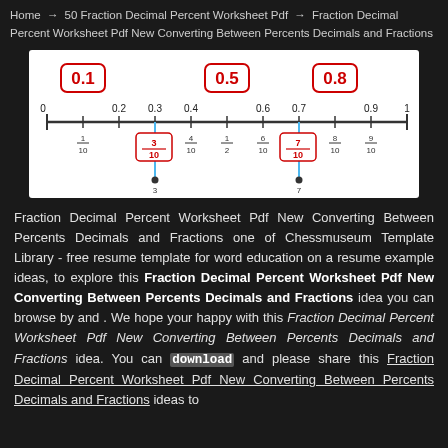Home → 50 Fraction Decimal Percent Worksheet Pdf → Fraction Decimal Percent Worksheet Pdf New Converting Between Percents Decimals and Fractions
[Figure (illustration): A number line from 0 to 1 showing decimal values 0.1 through 1.0 with corresponding fractions below. Values 0.1, 0.5, and 0.8 are highlighted in red boxes. Blue vertical lines drop from 0.3 and 0.7 to fraction values below (3/10 and 7/10 shown in red boxes). Other fractions such as 1/10, 2/10, 4/10, 5/10, 6/10, 8/10, 9/10 are labeled below the line.]
Fraction Decimal Percent Worksheet Pdf New Converting Between Percents Decimals and Fractions one of Chessmuseum Template Library - free resume template for word education on a resume example ideas, to explore this Fraction Decimal Percent Worksheet Pdf New Converting Between Percents Decimals and Fractions idea you can browse by and . We hope your happy with this Fraction Decimal Percent Worksheet Pdf New Converting Between Percents Decimals and Fractions idea. You can download and please share this Fraction Decimal Percent Worksheet Pdf New Converting Between Percents Decimals and Fractions ideas to your friends and family via your social media account. Back to 50 Fraction Decimal Percent Worksheet Pdf